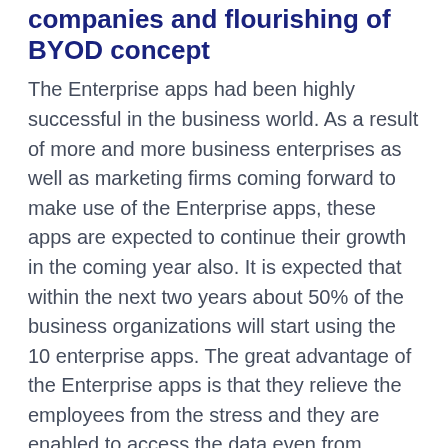companies and flourishing of BYOD concept
The Enterprise apps had been highly successful in the business world. As a result of more and more business enterprises as well as marketing firms coming forward to make use of the Enterprise apps, these apps are expected to continue their growth in the coming year also. It is expected that within the next two years about 50% of the business organizations will start using the 10 enterprise apps. The great advantage of the Enterprise apps is that they relieve the employees from the stress and they are enabled to access the data even from